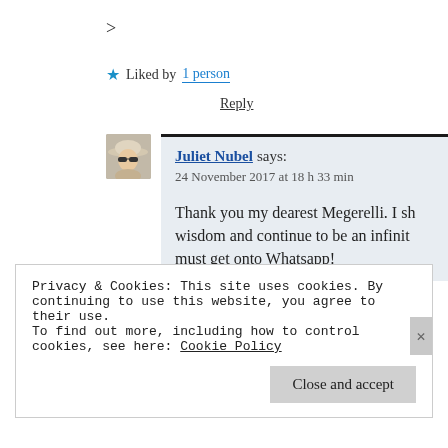>
★ Liked by 1 person
Reply
Juliet Nubel says:
24 November 2017 at 18 h 33 min
Thank you my dearest Megerelli. I sh… wisdom and continue to be an infinit… must get onto Whatsapp!
Privacy & Cookies: This site uses cookies. By continuing to use this website, you agree to their use.
To find out more, including how to control cookies, see here: Cookie Policy
Close and accept